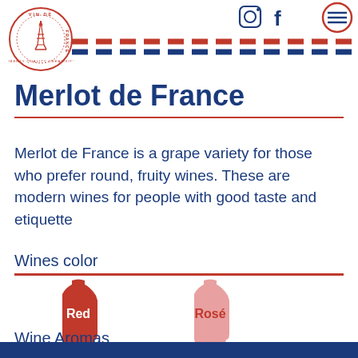[Figure (logo): Vin de France circular logo with Eiffel Tower, text: VIN DE FRANCE, LIBERTY QUALITY CREATIVITY]
[Figure (illustration): Dashed French flag stripe pattern (red and blue dashes) and social media icons: Instagram, Facebook, hamburger menu in red circle]
Merlot de France
Merlot de France is a grape variety for those who prefer round, fruity wines. These are modern wines for people with good taste and etiquette
Wines color
[Figure (illustration): Two wine bottle silhouettes: Red bottle (bright red with label 'Red') and Rosé bottle (pale pink with label 'Rosé')]
Wine Aromas